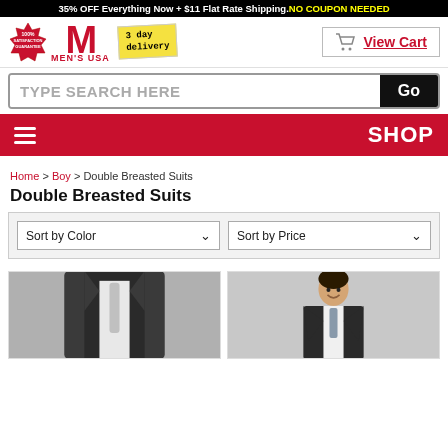35% OFF Everything Now + $11 Flat Rate Shipping. NO COUPON NEEDED
[Figure (logo): Men's USA logo with 100% satisfaction guarantee badge, large red M, '3 day delivery' sticky note]
[Figure (other): View Cart button with shopping cart icon]
TYPE SEARCH HERE  Go
≡  SHOP
Home > Boy > Double Breasted Suits
Double Breasted Suits
Sort by Color  ∨   Sort by Price  ∨
[Figure (photo): Dark charcoal double breasted suit with white shirt and silver tie, close up view]
[Figure (photo): Young boy wearing a dark suit with white shirt and striped tie, smiling]